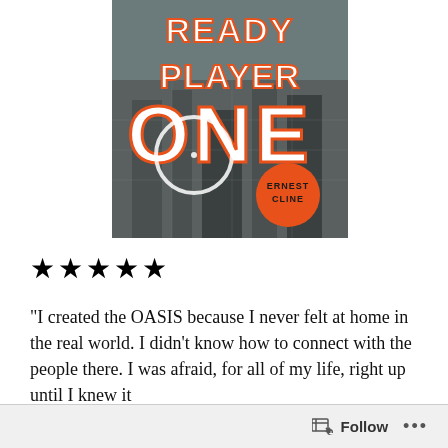[Figure (illustration): Book cover of 'Ready Player One' by Ernest Cline. Large stylized text reads READY PLAYER ONE with an industrial/urban background. An orange circle badge in the bottom right shows the author name ERNEST CLINE.]
★★★★★
“I created the OASIS because I never felt at home in the real world. I didn’t know how to connect with the people there. I was afraid, for all of my life, right up until I knew it
Follow ...